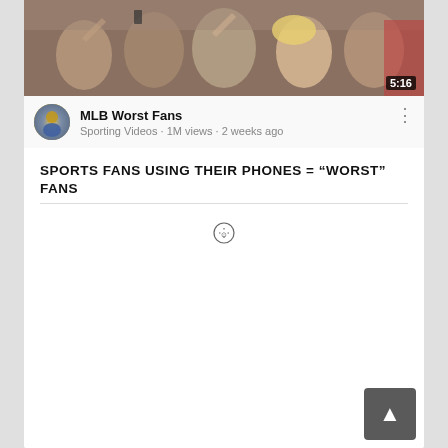[Figure (screenshot): YouTube video thumbnail showing sports fans at a game, with people using phones in a crowd]
5:16
[Figure (photo): Channel avatar circular thumbnail for Sporting Videos]
MLB Worst Fans
Sporting Videos · 1M views · 2 weeks ago
SPORTS FANS USING THEIR PHONES = “WORST” FANS
[Figure (other): Small circular play/clock icon button]